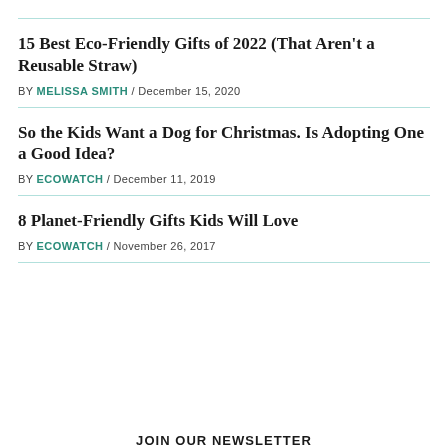15 Best Eco-Friendly Gifts of 2022 (That Aren't a Reusable Straw)
BY MELISSA SMITH / December 15, 2020
So the Kids Want a Dog for Christmas. Is Adopting One a Good Idea?
BY ECOWATCH / December 11, 2019
8 Planet-Friendly Gifts Kids Will Love
BY ECOWATCH / November 26, 2017
JOIN OUR NEWSLETTER